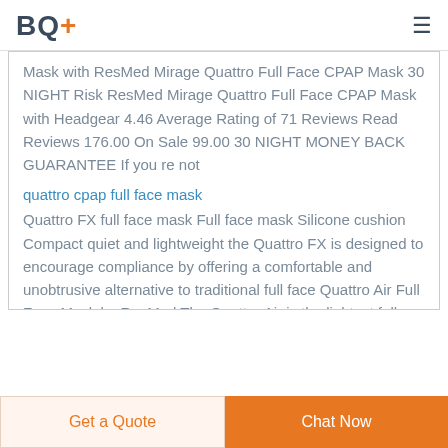BQ+
Mask with ResMed Mirage Quattro Full Face CPAP Mask 30 NIGHT Risk ResMed Mirage Quattro Full Face CPAP Mask with Headgear 4.46 Average Rating of 71 Reviews Read Reviews 176.00 On Sale 99.00 30 NIGHT MONEY BACK GUARANTEE If you re not
quattro cpap full face mask
Quattro FX full face mask Full face mask Silicone cushion Compact quiet and lightweight the Quattro FX is designed to encourage compliance by offering a comfortable and unobtrusive alternative to traditional full face Quattro Air Full Face Mask by ResMed The Quattro Air is the lightest full face